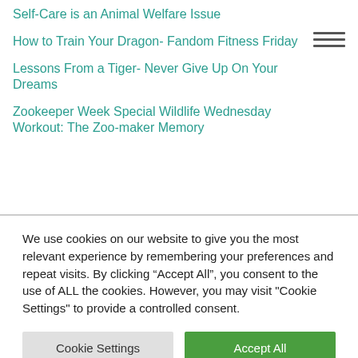Self-Care is an Animal Welfare Issue
How to Train Your Dragon- Fandom Fitness Friday
Lessons From a Tiger- Never Give Up On Your Dreams
Zookeeper Week Special Wildlife Wednesday Workout: The Zoo-maker Memory
We use cookies on our website to give you the most relevant experience by remembering your preferences and repeat visits. By clicking “Accept All”, you consent to the use of ALL the cookies. However, you may visit "Cookie Settings" to provide a controlled consent.